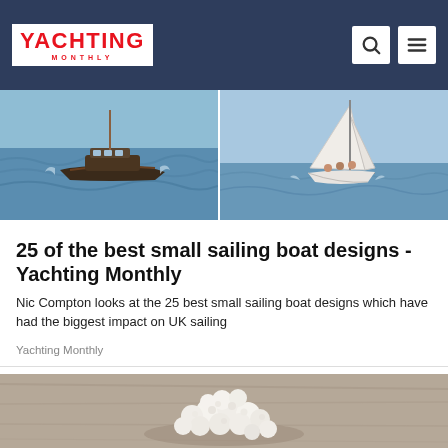YACHTING MONTHLY
[Figure (photo): Two sailing boats on the water side by side: left image shows a motorized/sailboat on choppy water, right image shows a white sailboat with crew sailing in open water]
25 of the best small sailing boat designs - Yachting Monthly
Nic Compton looks at the 25 best small sailing boat designs which have had the biggest impact on UK sailing
Yachting Monthly
[Figure (photo): Close-up photo of white cauliflower or similar white fluffy food item on a wooden surface]